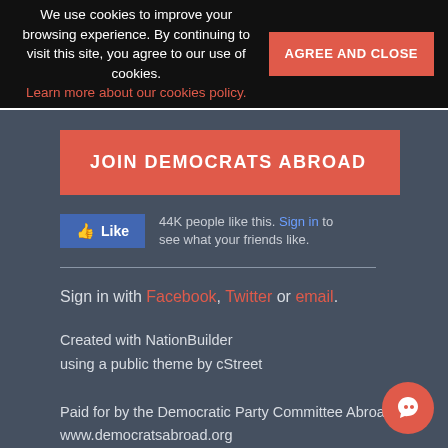We use cookies to improve your browsing experience. By continuing to visit this site, you agree to our use of cookies. Learn more about our cookies policy.
AGREE AND CLOSE
JOIN DEMOCRATS ABROAD
[Figure (other): Facebook Like button widget showing 44K people like this, with sign in link to see friends]
Sign in with Facebook, Twitter or email.
Created with NationBuilder using a public theme by cStreet
Paid for by the Democratic Party Committee Abroad www.democratsabroad.org